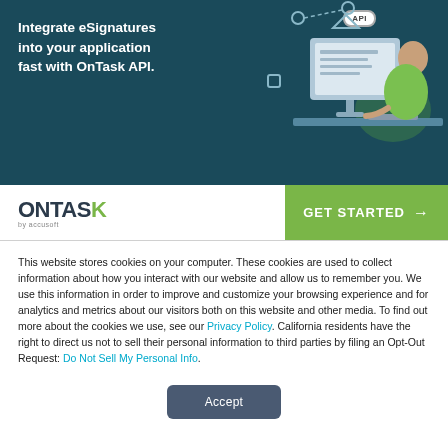[Figure (illustration): OnTask API advertisement banner with dark teal background, showing a person working at a computer with API badge graphic. Text reads: Integrate eSignatures into your application fast with OnTask API.]
This website stores cookies on your computer. These cookies are used to collect information about how you interact with our website and allow us to remember you. We use this information in order to improve and customize your browsing experience and for analytics and metrics about our visitors both on this website and other media. To find out more about the cookies we use, see our Privacy Policy. California residents have the right to direct us not to sell their personal information to third parties by filing an Opt-Out Request: Do Not Sell My Personal Info.
Accept